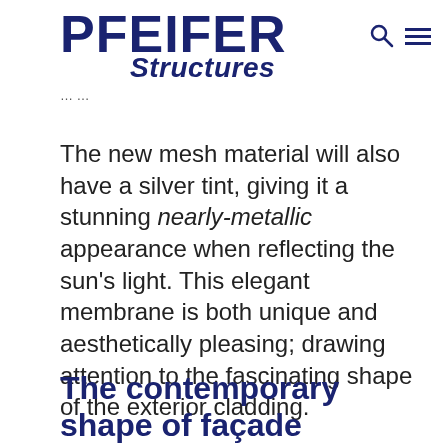PFEIFER Structures
… …
The new mesh material will also have a silver tint, giving it a stunning nearly-metallic appearance when reflecting the sun's light. This elegant membrane is both unique and aesthetically pleasing; drawing attention to the fascinating shape of the exterior cladding.
The contemporary shape of façade